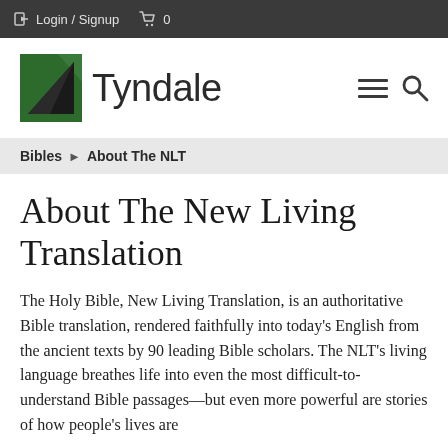Login / Signup   0
[Figure (logo): Tyndale publisher logo with green triangular bookmark icon and the word Tyndale in large sans-serif font, with hamburger menu and search icons on the right]
Bibles ▶ About The NLT
About The New Living Translation
The Holy Bible, New Living Translation, is an authoritative Bible translation, rendered faithfully into today's English from the ancient texts by 90 leading Bible scholars. The NLT's living language breathes life into even the most difficult-to-understand Bible passages—but even more powerful are stories of how people's lives are